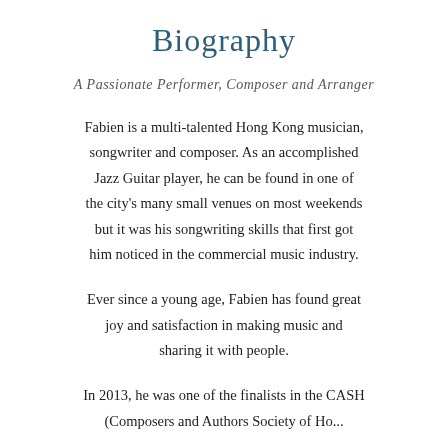Biography
A Passionate Performer, Composer and Arranger
Fabien is a multi-talented Hong Kong musician, songwriter and composer. As an accomplished Jazz Guitar player, he can be found in one of the city's many small venues on most weekends but it was his songwriting skills that first got him noticed in the commercial music industry.
Ever since a young age, Fabien has found great joy and satisfaction in making music and sharing it with people.
In 2013, he was one of the finalists in the CASH (Composers and Authors Society of Hong...